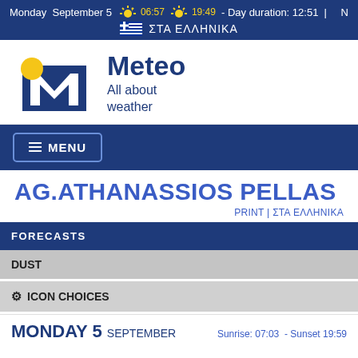Monday  September 5  🌅 06:57  🌇 19:49 - Day duration: 12:51  |  🇬🇷 ΣΤΑ ΕΛΛΗΝΙΚΑ  N
[Figure (logo): Meteo logo with yellow sun and blue M letter. Text: Meteo, All about weather]
☰ MENU
AG.ATHANASSIOS PELLAS
PRINT | ΣΤΑ ΕΛΛΗΝΙΚΑ
FORECASTS
DUST
⚙ ICON CHOICES
MONDAY 5  SEPTEMBER  Sunrise: 07:03  - Sunset 19:59